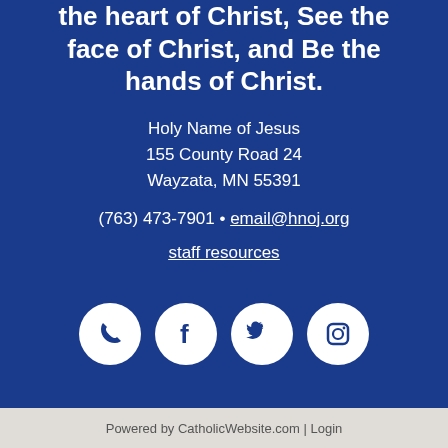the heart of Christ, See the face of Christ, and Be the hands of Christ.
Holy Name of Jesus
155 County Road 24
Wayzata, MN 55391
(763) 473-7901 • email@hnoj.org
staff resources
[Figure (illustration): Four circular white social media icons on dark blue background: phone, Facebook, Twitter, Instagram]
Powered by CatholicWebsite.com | Login